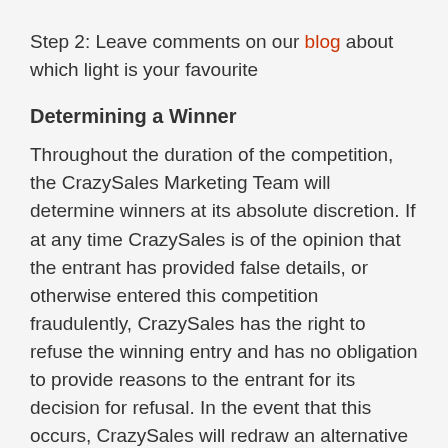Step 2: Leave comments on our blog about which light is your favourite
Determining a Winner
Throughout the duration of the competition, the CrazySales Marketing Team will determine winners at its absolute discretion. If at any time CrazySales is of the opinion that the entrant has provided false details, or otherwise entered this competition fraudulently, CrazySales has the right to refuse the winning entry and has no obligation to provide reasons to the entrant for its decision for refusal. In the event that this occurs, CrazySales will redraw an alternative winner. Please see “Conditions of Entry” for competition commencement and closing dates.
Conditions of Entry